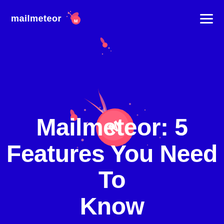mailmeteor
[Figure (illustration): Mailmeteor logo illustration: a comet/meteor with a pink-red flame tail and a white 'M' envelope icon on the body, along with smaller meteorite fragments scattered around, all on a dark blue background]
Mailmeteor: 5 Features You Need To Know